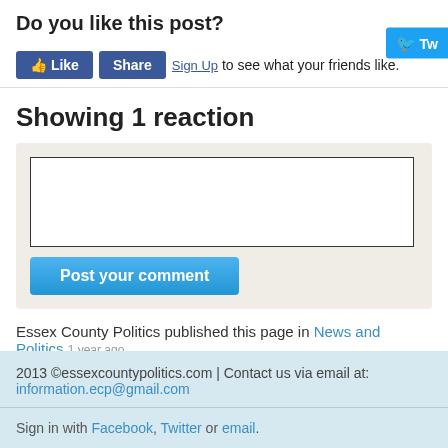Do you like this post?
[Figure (screenshot): Facebook Like and Share buttons with Sign Up text, and partial Twitter button on the right edge]
Showing 1 reaction
[Figure (screenshot): Comment box area with text input field and Post your comment button on beige background]
Essex County Politics published this page in News and Politics 1 year ago
2013 ©essexcountypolitics.com | Contact us via email at: information.ecp@gmail.com
Sign in with Facebook, Twitter or email.